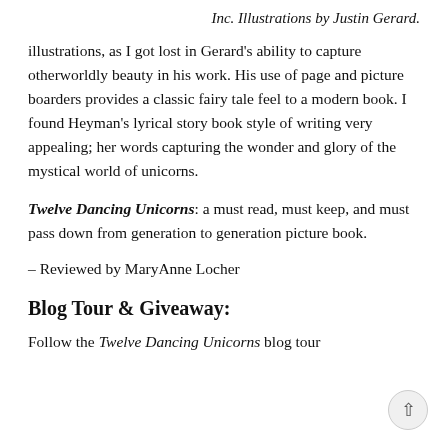Inc. Illustrations by Justin Gerard.
illustrations, as I got lost in Gerard’s ability to capture otherworldly beauty in his work. His use of page and picture boarders provides a classic fairy tale feel to a modern book. I found Heyman’s lyrical story book style of writing very appealing; her words capturing the wonder and glory of the mystical world of unicorns.
Twelve Dancing Unicorns: a must read, must keep, and must pass down from generation to generation picture book.
– Reviewed by MaryAnne Locher
Blog Tour & Giveaway:
Follow the Twelve Dancing Unicorns blog tour